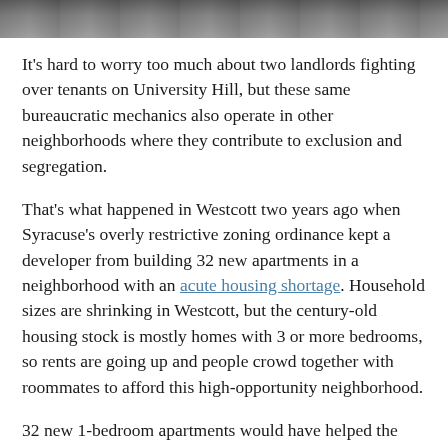[Figure (photo): Top portion of a photo showing a road or street scene, cropped at top of page]
It's hard to worry too much about two landlords fighting over tenants on University Hill, but these same bureaucratic mechanics also operate in other neighborhoods where they contribute to exclusion and segregation.
That's what happened in Westcott two years ago when Syracuse's overly restrictive zoning ordinance kept a developer from building 32 new apartments in a neighborhood with an acute housing shortage. Household sizes are shrinking in Westcott, but the century-old housing stock is mostly homes with 3 or more bedrooms, so rents are going up and people crowd together with roommates to afford this high-opportunity neighborhood.
32 new 1-bedroom apartments would have helped the neighborhood adjust to this changing demographic reality, but Syracuse's zoning ordinance doesn't really account for